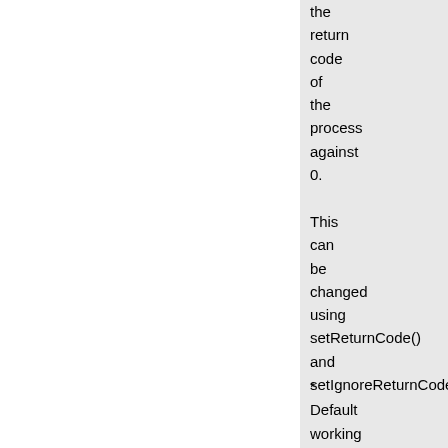the return code of the process against 0.
This can be changed using setReturnCode() and setIgnoreReturnCode().
* Default working directory is now the